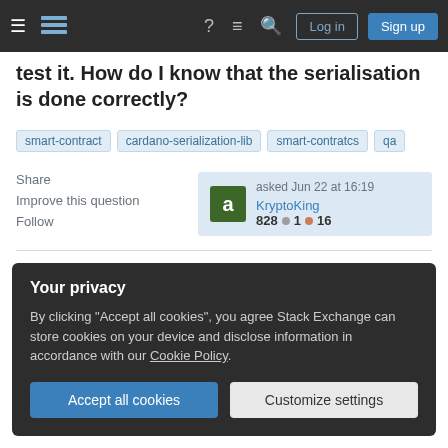Stack Exchange navigation bar with Log in and Sign up buttons
test it. How do I know that the serialisation is done correctly?
smart-contract
cardano-serialization-lib
smart-contratcs
qa
Share
Improve this question
Follow
asked Jun 22 at 16:19
KryptoKing
828 ● 1 ● 16
Your privacy
By clicking "Accept all cookies", you agree Stack Exchange can store cookies on your device and disclose information in accordance with our Cookie Policy.
Accept all cookies   Customize settings